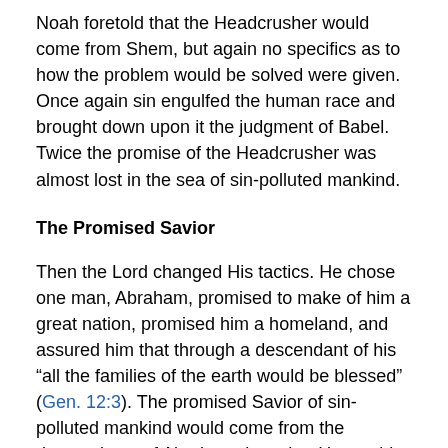Noah foretold that the Headcrusher would come from Shem, but again no specifics as to how the problem would be solved were given. Once again sin engulfed the human race and brought down upon it the judgment of Babel. Twice the promise of the Headcrusher was almost lost in the sea of sin-polluted mankind.
The Promised Savior
Then the Lord changed His tactics. He chose one man, Abraham, promised to make of him a great nation, promised him a homeland, and assured him that through a descendant of his “all the families of the earth would be blessed” (Gen. 12:3). The promised Savior of sin-polluted mankind would come from the descendants of Abraham, but what He would do to save was not revealed.
Centuries passed. The promise of the Savior of mankind was